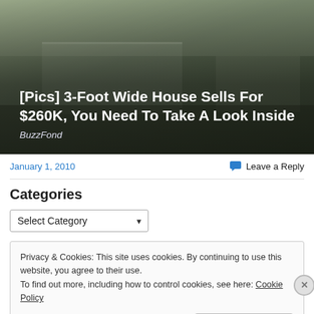[Figure (photo): Photo of a house exterior with siding and trees, overlaid with white bold title text and italic source text on a dark overlay.]
[Pics] 3-Foot Wide House Sells For $260K, You Need To Take A Look Inside
BuzzFond
January 1, 2010
Leave a Reply
Categories
Select Category
Privacy & Cookies: This site uses cookies. By continuing to use this website, you agree to their use.
To find out more, including how to control cookies, see here: Cookie Policy
Close and accept